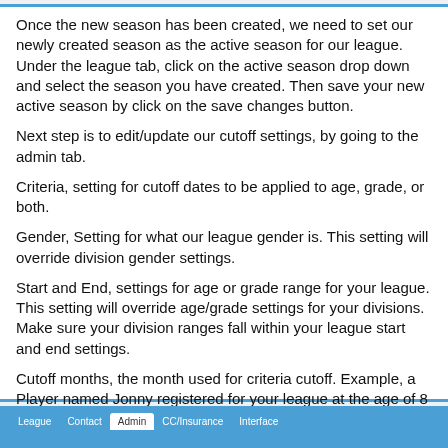Once the new season has been created, we need to set our newly created season as the active season for our league. Under the league tab, click on the active season drop down and select the season you have created. Then save your new active season by click on the save changes button.
Next step is to edit/update our cutoff settings, by going to the admin tab.
Criteria, setting for cutoff dates to be applied to age, grade, or both.
Gender, Setting for what our league gender is. This setting will override division gender settings.
Start and End, settings for age or grade range for your league. This setting will override age/grade settings for your divisions. Make sure your division ranges fall within your league start and end settings.
Cutoff months, the month used for criteria cutoff. Example, a Player named Jonny registered for your league at the age of 8 and his birthday is in December. The age(criteria setting) cutoff(cut off month setting) is set to September, so Jonny will be age 7 when registration for your league.
[Figure (screenshot): Navigation tab bar showing tabs: League, Contact, Admin (active/selected), CC/Insurance, Interface on a blue background.]